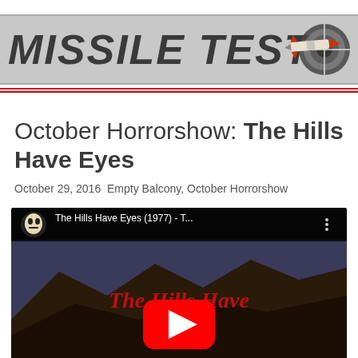MISSILE TEST
October Horrorshow: The Hills Have Eyes
October 29, 2016  Empty Balcony, October Horrorshow
[Figure (screenshot): YouTube video thumbnail for 'The Hills Have Eyes (1977) - T...' showing horror movie title card with a Jason-style masked figure icon and YouTube play button overlay]